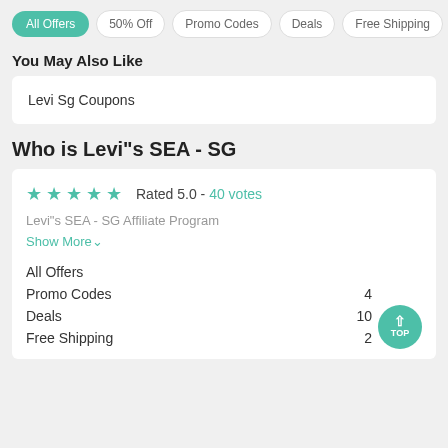All Offers  50% Off  Promo Codes  Deals  Free Shipping
You May Also Like
Levi Sg Coupons
Who is Levi"s SEA - SG
Rated 5.0 - 40 votes
Levi"s SEA - SG Affiliate Program
Show More
All Offers
Promo Codes  4
Deals  10
Free Shipping  2